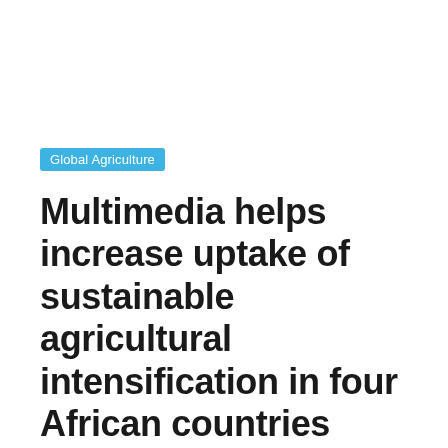Global Agriculture
Multimedia helps increase uptake of sustainable agricultural intensification in four African countries
September 20, 2021  Delhi Bureau  0 Comments  CABI, Africa  4 min read